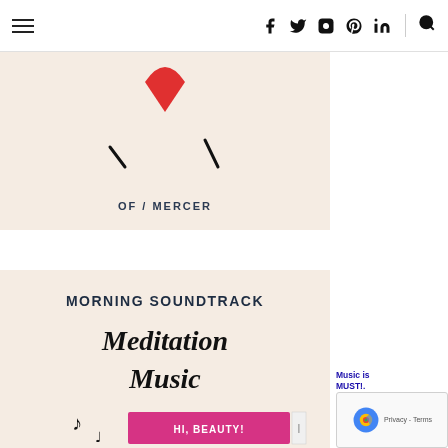≡  f  twitter  instagram  pinterest  in  🔍
[Figure (illustration): Partial illustration on beige/cream background showing a red heart shape at the top center and two small black diagonal lines (like closed eyes or eyelashes), with 'OF / MERCER' text in small caps near the bottom center.]
[Figure (illustration): Beige/cream background illustration reading 'MORNING SOUNDTRACK' in bold dark navy caps at top, then 'Meditation Music' in large handwritten-style black text below, with musical note doodles at bottom. A pink/magenta banner reads 'HI, BEAUTY!' overlaid at the bottom right.]
Music is... MUST!. recomm... th...